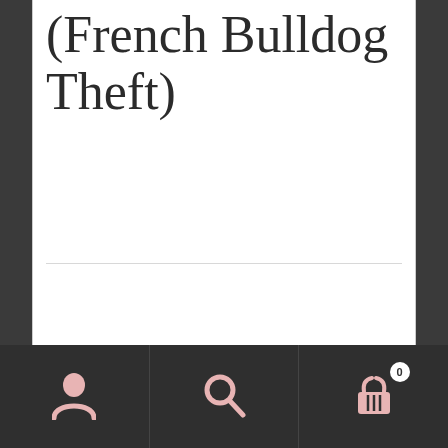(French Bulldog Theft)
User icon | Search icon | Cart icon (0)